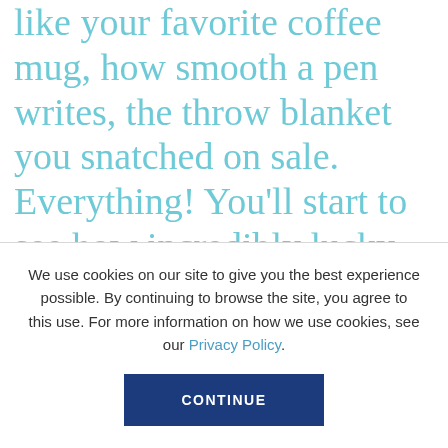like your favorite coffee mug, how smooth a pen writes, the throw blanket you snatched on sale. Everything! You'll start to see how incredibly lucky you are.
As a part of my series about the women in wellness, I had the pleasure of interviewing Ada Hsieh.
We use cookies on our site to give you the best experience possible. By continuing to browse the site, you agree to this use. For more information on how we use cookies, see our Privacy Policy.
CONTINUE